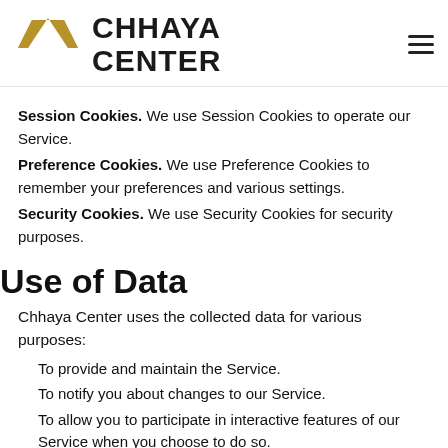CHHAYA CENTER
Session Cookies. We use Session Cookies to operate our Service.
Preference Cookies. We use Preference Cookies to remember your preferences and various settings.
Security Cookies. We use Security Cookies for security purposes.
Use of Data
Chhaya Center uses the collected data for various purposes:
To provide and maintain the Service.
To notify you about changes to our Service.
To allow you to participate in interactive features of our Service when you choose to do so.
To provide customer care and support.
To provide analysis or valuable information so that we can